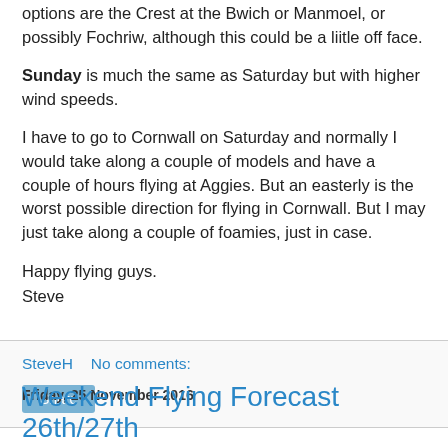options are the Crest at the Bwich or Manmoel, or possibly Fochriw, although this could be a liitle off face.
Sunday is much the same as Saturday but with higher wind speeds.
I have to go to Cornwall on Saturday and normally I would take along a couple of models and have a couple of hours flying at Aggies. But an easterly is the worst possible direction for flying in Cornwall. But I may just take along a couple of foamies, just in case.
Happy flying guys.
Steve
SteveH   No comments:
Share
Friday, 25 November 2016
Weekend Flying Forecast 26th/27th